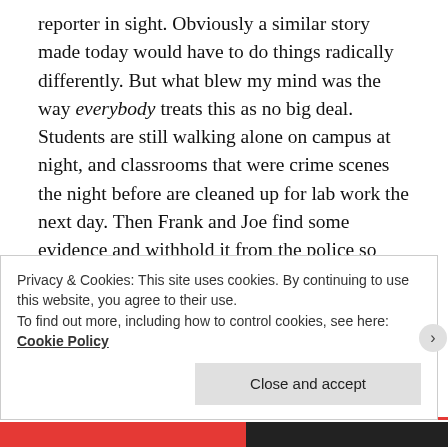reporter in sight. Obviously a similar story made today would have to do things radically differently. But what blew my mind was the way everybody treats this as no big deal. Students are still walking alone on campus at night, and classrooms that were crime scenes the night before are cleaned up for lab work the next day. Then Frank and Joe find some evidence and withhold it from the police so they can confront somebody themselves. Good grief!
A weird coincidence: one month before this aired, NBC showed an episode of Columbo called “How to
Privacy & Cookies: This site uses cookies. By continuing to use this website, you agree to their use.
To find out more, including how to control cookies, see here: Cookie Policy
Close and accept